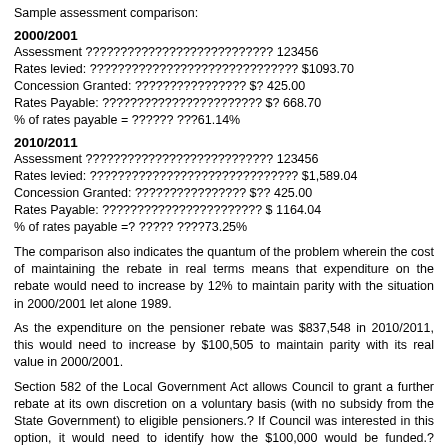Sample assessment comparison:
2000/2001
Assessment ??????????????????????????? 123456
Rates levied: ?????????????????????????????? $1093.70
Concession Granted: ???????????????? $? 425.00
Rates Payable: ??????????????????????? $? 668.70
% of rates payable = ?????? ???61.14%
2010/2011
Assessment ??????????????????????????? 123456
Rates levied: ?????????????????????????????? $1,589.04
Concession Granted: ???????????????? $?? 425.00
Rates Payable: ??????????????????????? $ 1164.04
% of rates payable =? ????? ????73.25%
The comparison also indicates the quantum of the problem wherein the cost of maintaining the rebate in real terms means that expenditure on the rebate would need to increase by 12% to maintain parity with the situation in 2000/2001 let alone 1989.
As the expenditure on the pensioner rebate was $837,548 in 2010/2011, this would need to increase by $100,505 to maintain parity with its real value in 2000/2001.
Section 582 of the Local Government Act allows Council to grant a further rebate at its own discretion on a voluntary basis (with no subsidy from the State Government) to eligible pensioners.? If Council was interested in this option, it would need to identify how the $100,000 would be funded.? Funding can only be achieved by increasing revenue or reducing expenditure, or both...